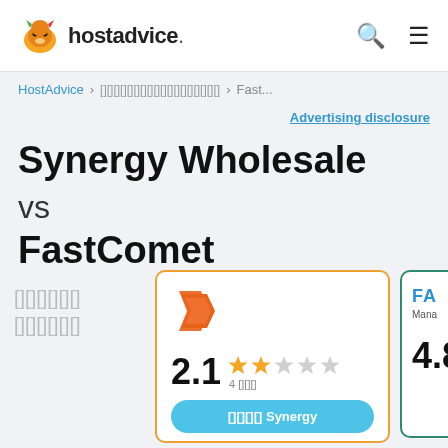hostadvice.
HostAdvice > [breadcrumb] > Fast...
Advertising disclosure
Synergy Wholesale vs FastComet
[label text in Thai/unknown script]
[Figure (infographic): Synergy Wholesale logo - orange chevron icon]
2.1  4 [reviews]
[Visit Synergy button]
[Figure (infographic): FastComet partially visible card with rating 4.8]
4.8